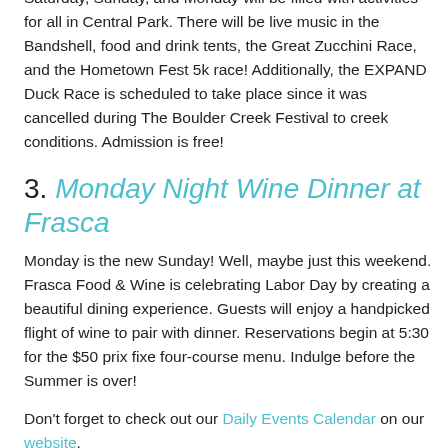end it with The Boulder Creek Hometown Festival. Saturday, Sunday, and Monday will be filled with activities for all in Central Park. There will be live music in the Bandshell, food and drink tents, the Great Zucchini Race, and the Hometown Fest 5k race! Additionally, the EXPAND Duck Race is scheduled to take place since it was cancelled during The Boulder Creek Festival to creek conditions. Admission is free!
3. Monday Night Wine Dinner at Frasca
Monday is the new Sunday! Well, maybe just this weekend. Frasca Food & Wine is celebrating Labor Day by creating a beautiful dining experience. Guests will enjoy a handpicked flight of wine to pair with dinner. Reservations begin at 5:30 for the $50 prix fixe four-course menu. Indulge before the Summer is over!
Don't forget to check out our Daily Events Calendar on our website.
For more photos, events, postings, and articles: